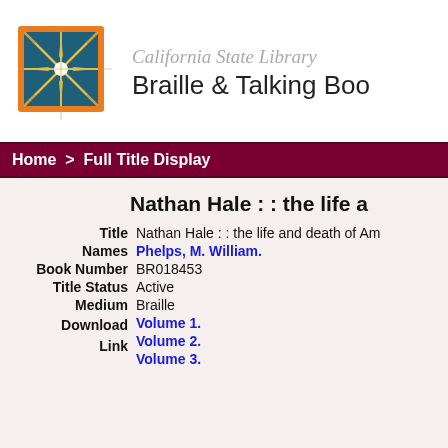[Figure (logo): California State Library Braille and Talking Book Library star logo — orange border square with teal/blue quadrants and a gold starburst/star shape in the center]
California State Library
Braille & Talking Boo
Home  >  Full Title Display
Nathan Hale : : the life a
| Field | Value |
| --- | --- |
| Title | Nathan Hale : : the life and death of Am |
| Names | Phelps, M. William. |
| Book Number | BR018453 |
| Title Status | Active |
| Medium | Braille |
| Download Link | Volume 1.
Volume 2.
Volume 3. |